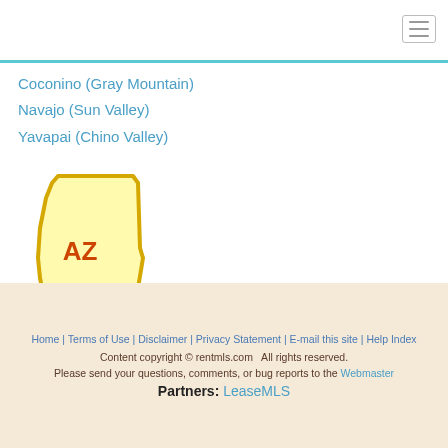Coconino (Gray Mountain)
Navajo (Sun Valley)
Yavapai (Chino Valley)
[Figure (map): Outline map of Arizona state with yellow fill and 'AZ' label in orange-red]
Home | Terms of Use | Disclaimer | Privacy Statement | E-mail this site | Help Index
Content copyright © rentmls.com   All rights reserved.
Please send your questions, comments, or bug reports to the Webmaster
Partners: LeaseMLS